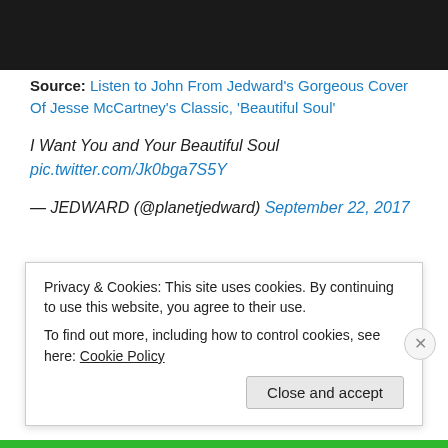[Figure (photo): Dark/black image at top of page, partial photo visible]
Source: Listen to John From Jedward's Gorgeous Cover Of Jesse McCartney's Classic, 'Beautiful Soul'
I Want You and Your Beautiful Soul
pic.twitter.com/Jk0bga7S5Y
— JEDWARD (@planetjedward) September 22, 2017
September 22, 2017   Leave a Reply
Privacy & Cookies: This site uses cookies. By continuing to use this website, you agree to their use.
To find out more, including how to control cookies, see here: Cookie Policy